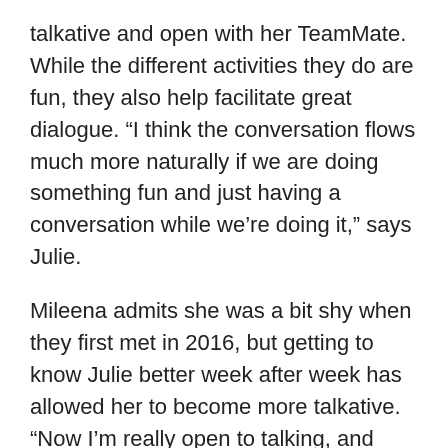talkative and open with her TeamMate. While the different activities they do are fun, they also help facilitate great dialogue. “I think the conversation flows much more naturally if we are doing something fun and just having a conversation while we’re doing it,” says Julie.
Mileena admits she was a bit shy when they first met in 2016, but getting to know Julie better week after week has allowed her to become more talkative. “Now I’m really open to talking, and she’s open to me too which is nice,” Mileena shares.
Julie is glad they can be “silly and weird” together and thinks her self-proclaimed weirdness adds to their dynamic because Mileena knows she can say anything without judgment.
“She’s there for me always, and I’ve also gained being able